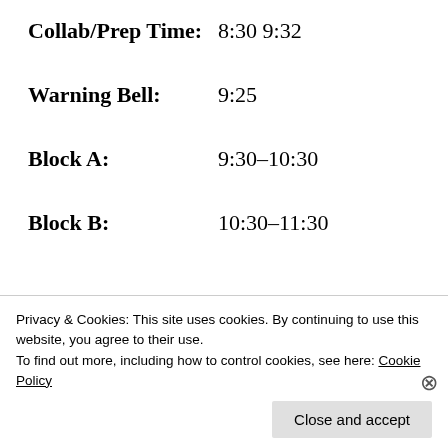Collab/Prep Time: 8:30 9:32
Warning Bell: 9:25
Block A: 9:30–10:30
Block B: 10:30–11:30
Collaboration and Early Wednesday Bell Schedule
Privacy & Cookies: This site uses cookies. By continuing to use this website, you agree to their use. To find out more, including how to control cookies, see here: Cookie Policy
Close and accept